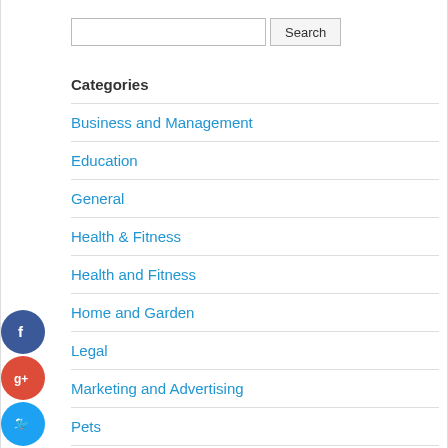Search [input] [Search button]
Categories
Business and Management
Education
General
Health & Fitness
Health and Fitness
Home and Garden
Legal
Marketing and Advertising
Pets
Technology and Gadgets